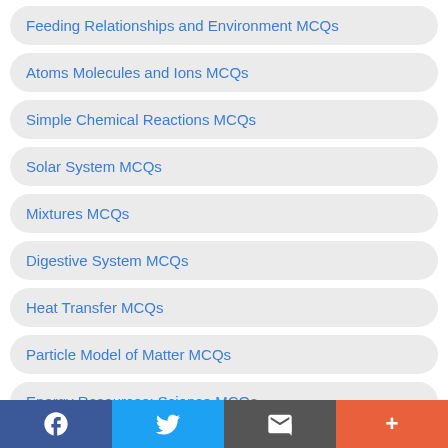Feeding Relationships and Environment MCQs
Atoms Molecules and Ions MCQs
Simple Chemical Reactions MCQs
Solar System MCQs
Mixtures MCQs
Digestive System MCQs
Heat Transfer MCQs
Particle Model of Matter MCQs
Energy Resources: Science MCQs